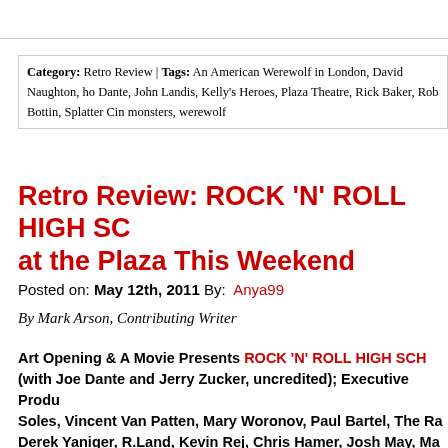Category: Retro Review | Tags: An American Werewolf in London, David Naughton, ho Dante, John Landis, Kelly's Heroes, Plaza Theatre, Rick Baker, Rob Bottin, Splatter Cin monsters, werewolf
Retro Review: ROCK 'N' ROLL HIGH SC at the Plaza This Weekend
Posted on: May 12th, 2011 By: Anya99
By Mark Arson, Contributing Writer
Art Opening & A Movie Presents ROCK 'N' ROLL HIGH SCH (with Joe Dante and Jerry Zucker, uncredited); Executive Produ Soles, Vincent Van Patten, Mary Woronov, Paul Bartel, The Ra Derek Yaniger, R.Land, Kevin Rej, Chris Hamer, Josh May, Ma Scotty Mominee and Trish Chenard. Fri. May 13, 9:30 pm and S Theatre ; Trailer here.
Teen comedies are a tricky thing to pull off. Any film can be funny good enough writing, but for a teen comedy to be memorable, for th audience to really fall in love with the setting and characters, some fantasy element has to be at play. As most of us know, the day-to-d